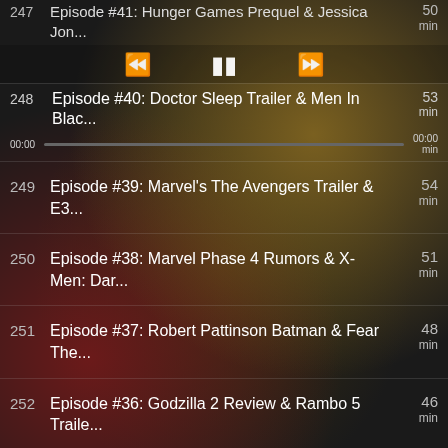247 Episode #41: Hunger Games Prequel & Jessica Jon... 50 min
[Figure (screenshot): Media playback controls: rewind (<<), pause (||), fast forward (>>)]
248 Episode #40: Doctor Sleep Trailer & Men In Blac... 53 min — currently playing, progress bar at 0:00
249 Episode #39: Marvel's The Avengers Trailer & E3... 54 min
250 Episode #38: Marvel Phase 4 Rumors & X-Men: Dar... 51 min
251 Episode #37: Robert Pattinson Batman & Fear The... 48 min
252 Episode #36: Godzilla 2 Review & Rambo 5 Traile... 46 min
253 Episode #35: DC's Swamp Thing Preview & Brightb... 44 min
254 Episode #34: Terminator: Dark Fate Trailer & A... 43 min